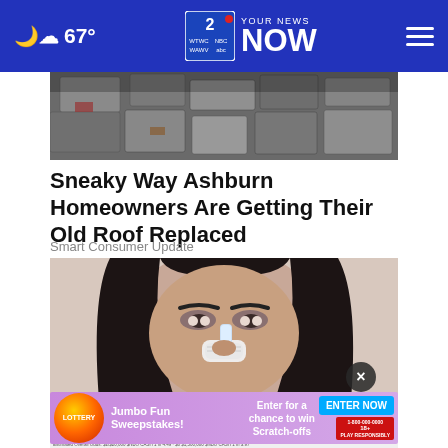67° | YOUR NEWS NOW — WTWC WAWV NBC2
[Figure (photo): Roof tiles and rubble photo (partially visible, cropped)]
Sneaky Way Ashburn Homeowners Are Getting Their Old Roof Replaced
Smart Consumer Update
[Figure (photo): Close-up photo of a woman's face with dark hair, holding a white strip near her nose]
[Figure (other): Advertisement: Lottery Jumbo Fun Sweepstakes — Enter for a chance to win Scratch-offs — ENTER NOW]